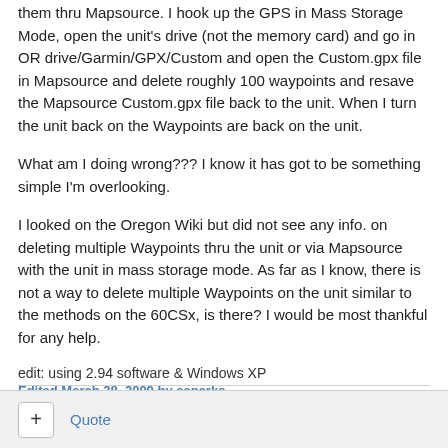them thru Mapsource. I hook up the GPS in Mass Storage Mode, open the unit's drive (not the memory card) and go in OR drive/Garmin/GPX/Custom and open the Custom.gpx file in Mapsource and delete roughly 100 waypoints and resave the Mapsource Custom.gpx file back to the unit. When I turn the unit back on the Waypoints are back on the unit.
What am I doing wrong??? I know it has got to be something simple I'm overlooking.
I looked on the Oregon Wiki but did not see any info. on deleting multiple Waypoints thru the unit or via Mapsource with the unit in mass storage mode. As far as I know, there is not a way to delete multiple Waypoints on the unit similar to the methods on the 60CSx, is there? I would be most thankful for any help.
edit: using 2.94 software & Windows XP
Edited March 28, 2009 by eaparks